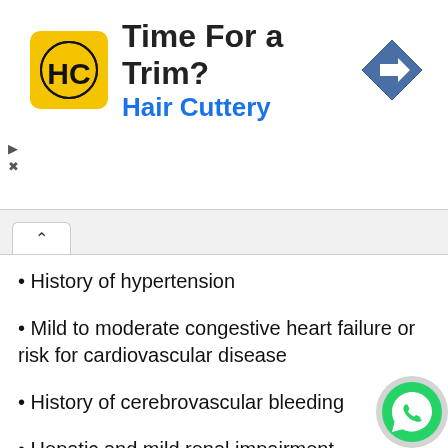[Figure (illustration): Hair Cuttery advertisement banner with logo, tagline 'Time For a Trim?' and a blue navigation arrow icon]
History of hypertension
Mild to moderate congestive heart failure or risk for cardiovascular disease
History of cerebrovascular bleeding
Hepatic and mild renal impairment
This drug may cause dizziness, vertigo, drowsiness, fatigue and visual disturbances, affected, precaution should be taken while